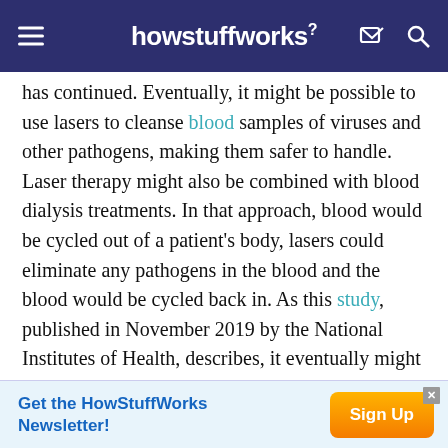howstuffworks
has continued. Eventually, it might be possible to use lasers to cleanse blood samples of viruses and other pathogens, making them safer to handle. Laser therapy might also be combined with blood dialysis treatments. In that approach, blood would be cycled out of a patient's body, lasers could eliminate any pathogens in the blood and the blood would be cycled back in. As this study, published in November 2019 by the National Institutes of Health, describes, it eventually might be possible to employ lasers to inactivate influenza viruses, so that they
[Figure (screenshot): Advertisement bar at bottom: 'Get the HowStuffWorks Newsletter!' with orange Sign Up button and close X icon]